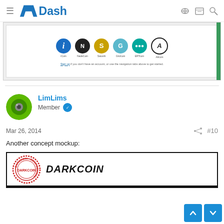Dash
[Figure (screenshot): Screenshot of a cryptocurrency exchange or wallet interface showing coin logos: iCoin, NadeCoin, Satoshi, Gridcoin, ERTcoin, Altcoin. Text at bottom: Sign up if you don't have an account, or use the navigation tabs above to get started.]
LimLims
Member
Mar 26, 2014
#10
Another concept mockup:
[Figure (illustration): Darkcoin concept mockup logo showing a circular stamp-style logo with 'DARKCOIN' text and bold italic DARKCOIN text beside it with a thick underline border.]